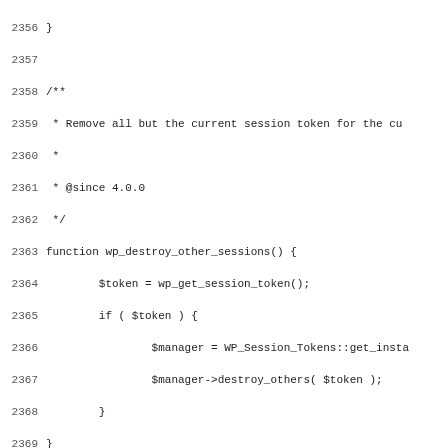Source code listing lines 2356-2387, showing PHP functions wp_destroy_other_sessions() and wp_destroy_all_sessions() with PHPDoc comments.